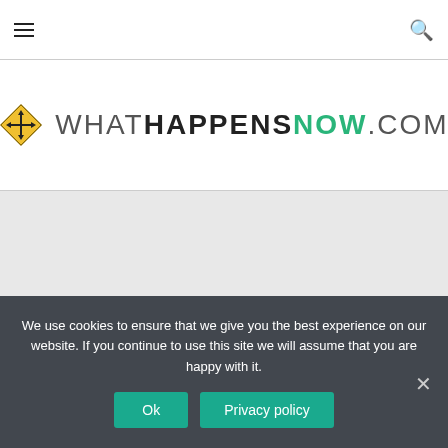Navigation bar with hamburger menu and search icon
WHATHAPPENSNOW.COM
[Figure (other): Gray content area placeholder image]
We use cookies to ensure that we give you the best experience on our website. If you continue to use this site we will assume that you are happy with it.
Ok  Privacy policy